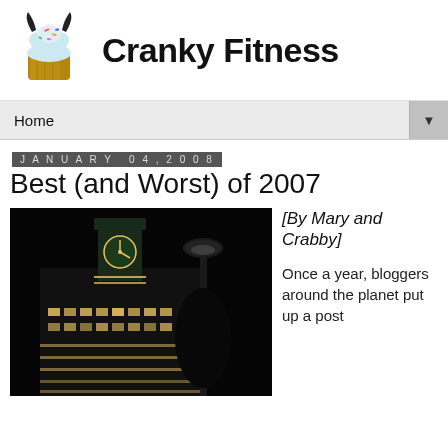Cranky Fitness
Home
January 04, 2008
Best (and Worst) of 2007
[Figure (photo): Nighttime photo of an illuminated clock tower building with holiday lights and a street lamp in the foreground]
[By Mary and Crabby]

Once a year, bloggers around the planet put up a post